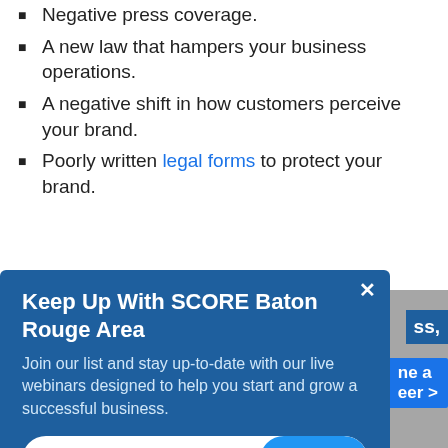Negative press coverage.
A new law that hampers your business operations.
A negative shift in how customers perceive your brand.
Poorly written legal forms to protect your brand.
[Figure (screenshot): Modal popup overlay: 'Keep Up With SCORE Baton Rouge Area' newsletter signup with email input and SUBMIT button on a dark blue background with a close X button.]
Has your competitor significantly improved their product?
Is your churn rate way above average?